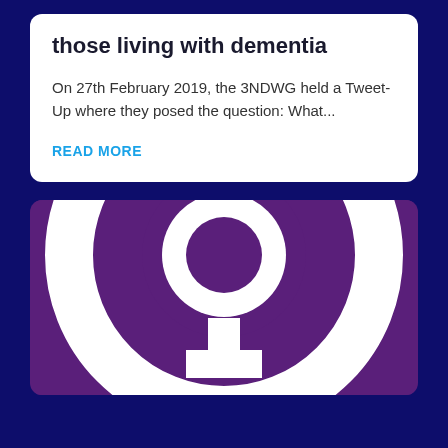those living with dementia
On 27th February 2019, the 3NDWG held a Tweet-Up where they posed the question: What...
READ MORE
[Figure (illustration): White female gender symbol (Venus symbol / circle with cross below) on a dark purple background]